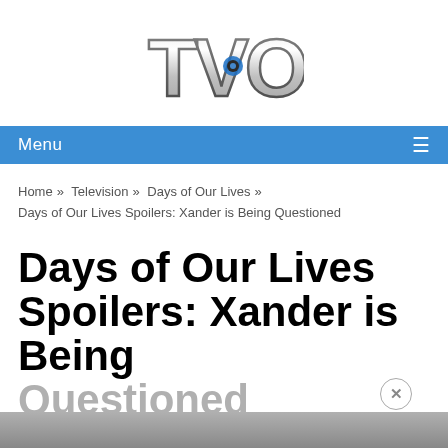[Figure (logo): TVOM logo in chrome/metallic 3D lettering style]
Menu ☰
Home » Television » Days of Our Lives » Days of Our Lives Spoilers: Xander is Being Questioned
Days of Our Lives Spoilers: Xander is Being Questioned
[Figure (photo): Partial photo strip at bottom of page, partially visible]